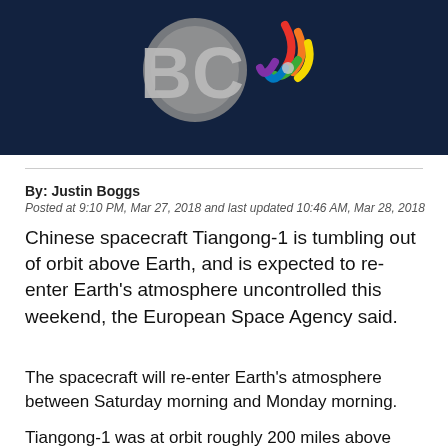[Figure (photo): Dark blue banner image showing NBC logo (peacock multicolor feathers and NBC letters) against a dark background]
By: Justin Boggs
Posted at 9:10 PM, Mar 27, 2018 and last updated 10:46 AM, Mar 28, 2018
Chinese spacecraft Tiangong-1 is tumbling out of orbit above Earth, and is expected to re-enter Earth's atmosphere uncontrolled this weekend, the European Space Agency said.
The spacecraft will re-enter Earth's atmosphere between Saturday morning and Monday morning.
Tiangong-1 was at orbit roughly 200 miles above Earth